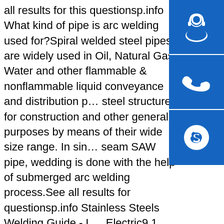all results for this questionsp.info What kind of pipe is arc welding used for?Spiral welded steel pipes are widely used in Oil, Natural Gas, Water and other flammable & nonflammable liquid conveyance and distribution p… steel structures for construction and other general purposes by means of their wide size range. In sin… seam SAW pipe, wedding is done with the help of submerged arc welding process.See all results for questionsp.info Stainless Steels Welding Guide - L… Electric9.1 Shielded Metal Arc Welding 9.2 Submerged Arc Welding 9.3 Gas Metal Arc Welding 9.4 Flux… Arc Welding 9.5 Gas Tungsten Arc ... Stainless st… defined as iron base alloys which contain at least 10.5% chromium. The thin but ... joint as rapidly as in carbon steel. In resistance welding, lower current cansp.info Guide for Steel Hull Welding - American Welding SocietyApr 29, 1992 · 2.2 Shielded Metal Arc Welding (SMAW) 20 2.3 Submerged Arc Welding (SAW) 22 2.4 Gas Metal Arc Welding (GMAW) 23 2.5 Flux Cored Arc Welding (FCAW) 25 2.6 Electroslag Welding (ESW…
[Figure (illustration): Blue sidebar with three icons stacked vertically: headset/support icon, phone icon, and Skype icon, each on a blue square background.]